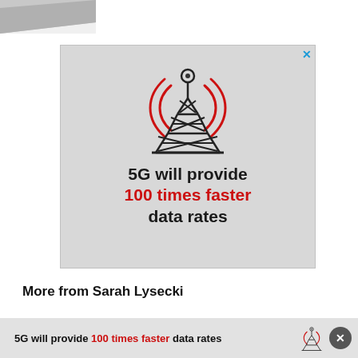[Figure (photo): Partial top-left corner image showing grey angled surface]
[Figure (infographic): Advertisement: cell tower icon with radio waves, text '5G will provide 100 times faster data rates' on grey background with X close button]
More from Sarah Lysecki
5G will provide 100 times faster data rates